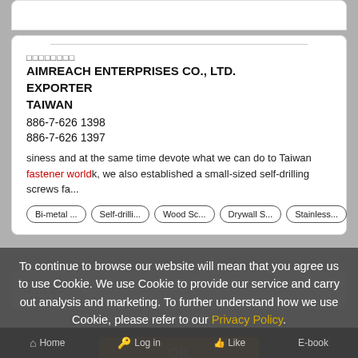□□□□□□□□
AIMREACH ENTERPRISES CO., LTD.
EXPORTER
TAIWAN
886-7-626 1398
886-7-626 1397
siness and at the same time devote what we can do to Taiwan fastener worldk, we also established a small-sized self-drilling screws fa...
Bi-metal ...
Self-drilli...
Wood Sc...
Drywall S...
Stainless...
To continue to browse our website will mean that you agree us to use Cookie. We use Cookie to provide our service and carry out analysis and marketing. To further understand how we use Cookie, please refer to our Privacy Policy.
OK
Home  Log in  Like  E-book